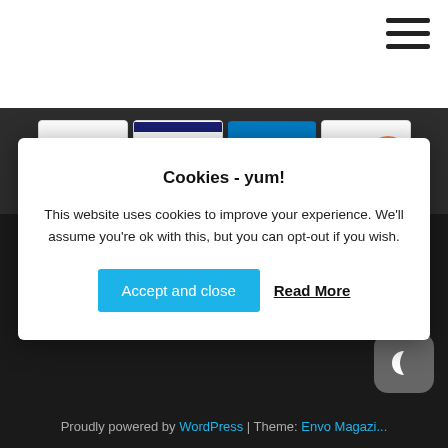[Figure (screenshot): Hamburger menu icon with three horizontal lines, top right corner]
[Figure (logo): Payment method logos: MasterCard, VISA, American Express, Discover Network]
Cookies - yum!
This website uses cookies to improve your experience. We'll assume you're ok with this, but you can opt-out if you wish.
Accept and close   Read More
Proudly powered by WordPress | Theme: Envo Magazine